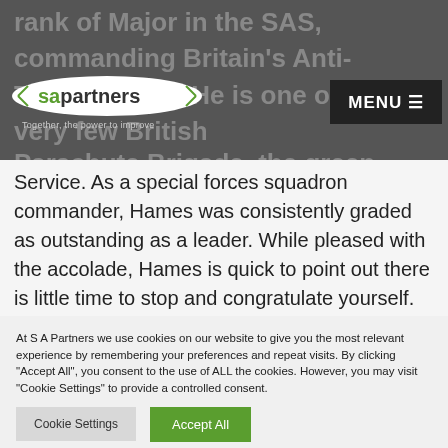rank of Major in the SAS, commanding Britain's Anti-Terrorist Unit. He is one of the very few British
[Figure (logo): SA Partners logo with oval shape and tagline 'Together, the power to improve']
Parachute Brigade, the green beret of the Royal Marines and the sand beret of the Special Air Service.  As a special forces squadron commander, Hames was consistently graded as outstanding as a leader.  While pleased with the accolade, Hames is quick to point out there is little time to stop and congratulate yourself.
At S A Partners we use cookies on our website to give you the most relevant experience by remembering your preferences and repeat visits. By clicking "Accept All", you consent to the use of ALL the cookies. However, you may visit "Cookie Settings" to provide a controlled consent.